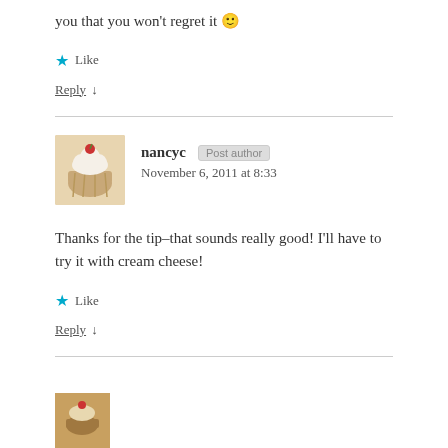you that you won't regret it 🙂
★ Like
Reply ↓
nancyc [Post author] November 6, 2011 at 8:33
Thanks for the tip–that sounds really good! I'll have to try it with cream cheese!
★ Like
Reply ↓